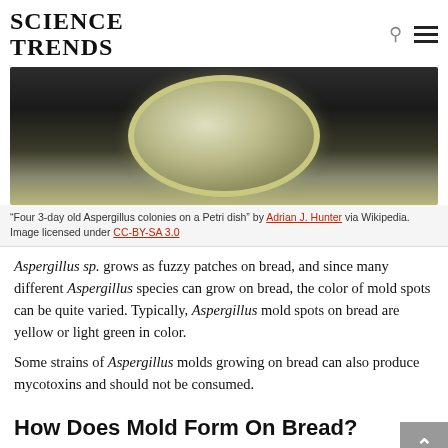SCIENCE TRENDS
[Figure (photo): Petri dish with four 3-day old Aspergillus colonies on dark background, showing yellowish-green circular mold colonies on an oval plate]
“Four 3-day old Aspergillus colonies on a Petri dish” by Adrian J. Hunter via Wikipedia. Image licensed under CC-BY-SA 3.0
Aspergillus sp. grows as fuzzy patches on bread, and since many different Aspergillus species can grow on bread, the color of mold spots can be quite varied. Typically, Aspergillus mold spots on bread are yellow or light green in color.
Some strains of Aspergillus molds growing on bread can also produce mycotoxins and should not be consumed.
How Does Mold Form On Bread?
As molds, and fungi in general, are heterotrophs, they are